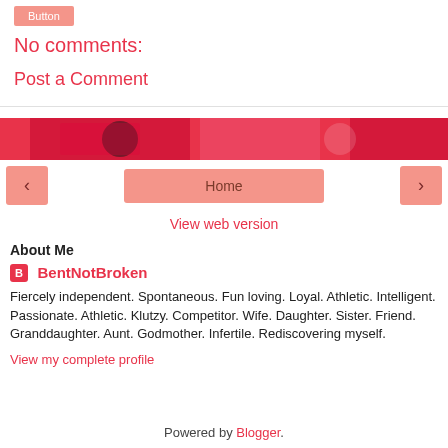No comments:
Post a Comment
[Figure (photo): Red and pink decorative banner image strip]
< Home >
View web version
About Me
BentNotBroken
Fiercely independent. Spontaneous. Fun loving. Loyal. Athletic. Intelligent. Passionate. Athletic. Klutzy. Competitor. Wife. Daughter. Sister. Friend. Granddaughter. Aunt. Godmother. Infertile. Rediscovering myself.
View my complete profile
Powered by Blogger.